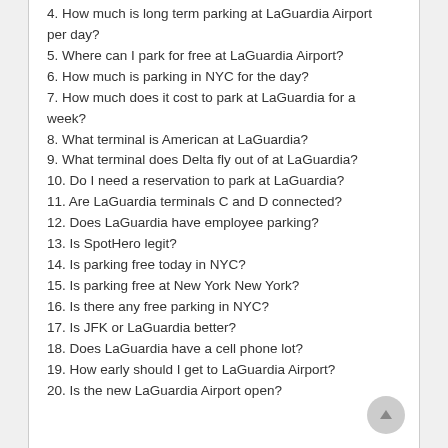4. How much is long term parking at LaGuardia Airport per day?
5. Where can I park for free at LaGuardia Airport?
6. How much is parking in NYC for the day?
7. How much does it cost to park at LaGuardia for a week?
8. What terminal is American at LaGuardia?
9. What terminal does Delta fly out of at LaGuardia?
10. Do I need a reservation to park at LaGuardia?
11. Are LaGuardia terminals C and D connected?
12. Does LaGuardia have employee parking?
13. Is SpotHero legit?
14. Is parking free today in NYC?
15. Is parking free at New York New York?
16. Is there any free parking in NYC?
17. Is JFK or LaGuardia better?
18. Does LaGuardia have a cell phone lot?
19. How early should I get to LaGuardia Airport?
20. Is the new LaGuardia Airport open?